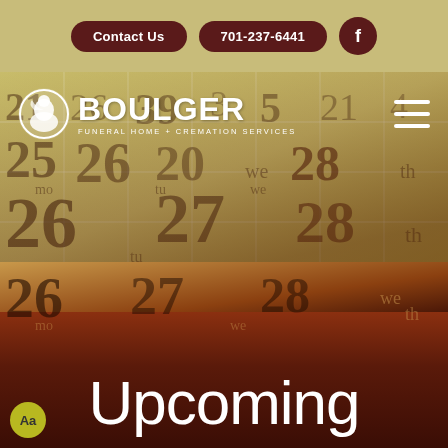Contact Us | 701-237-6441 | Facebook
[Figure (logo): Boulger Funeral Home + Cremation Services logo with circular icon featuring a dove]
[Figure (photo): Close-up of a calendar showing dates 26, 27, 28 with dark brownish gradient overlay]
Upcoming